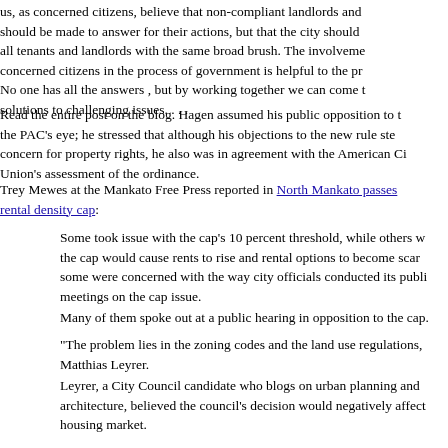us, as concerned citizens, believe that non-compliant landlords and should be made to answer for their actions, but that the city should all tenants and landlords with the same broad brush. The involveme concerned citizens in the process of government is helpful to the pr No one has all the answers , but by working together we can come t solutions to challenging issues. . . .
Read the entire post on the blog. Hagen assumed his public opposition to the PAC's eye; he stressed that although his objections to the new rule ste concern for property rights, he also was in agreement with the American Ci Union's assessment of the ordinance.
Trey Mewes at the Mankato Free Press reported in North Mankato passes rental density cap:
Some took issue with the cap's 10 percent threshold, while others w the cap would cause rents to rise and rental options to become scar some were concerned with the way city officials conducted its publi meetings on the cap issue.
Many of them spoke out at a public hearing in opposition to the cap.
"The problem lies in the zoning codes and the land use regulations, Matthias Leyrer.
Leyrer, a City Council candidate who blogs on urban planning and architecture, believed the council's decision would negatively affect housing market.
He wasn't the only one. Local realtors representing the Realtors Ass of Southern Minnesota Board of Directors publicly opposed the cap. representative of the American Civil Liberties Union of Minnesota.